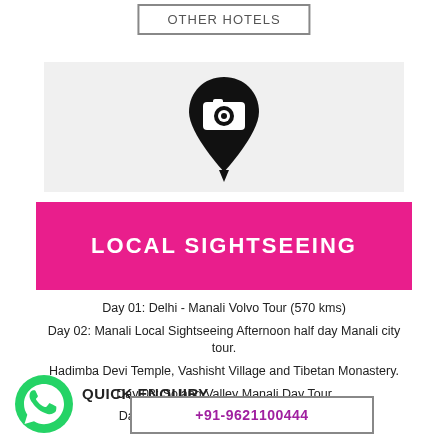OTHER HOTELS
[Figure (illustration): Location pin with camera icon in black on light grey background]
LOCAL SIGHTSEEING
Day 01: Delhi - Manali Volvo Tour (570 kms)
Day 02: Manali Local Sightseeing Afternoon half day Manali city tour.
Hadimba Devi Temple, Vashisht Village and Tibetan Monastery.
Day 03: Solang Valley Manali Day Tour
Day 04: Manali Kullu Manikaran Tours
QUICK ENQUIRY
+91-9621100444